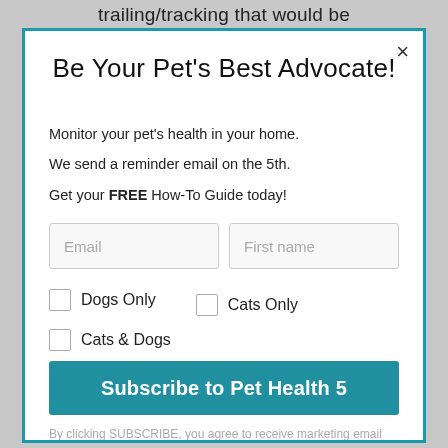trailing/tracking that would be
Be Your Pet's Best Advocate!
Monitor your pet's health in your home.
We send a reminder email on the 5th.
Get your FREE How-To Guide today!
Email
First name
Dogs Only
Cats Only
Cats & Dogs
Subscribe to Pet Health 5
By clicking SUBSCRIBE, you agree to receive marketing email message from All Pet Voices at the email submitted.View our Privacy Policy.